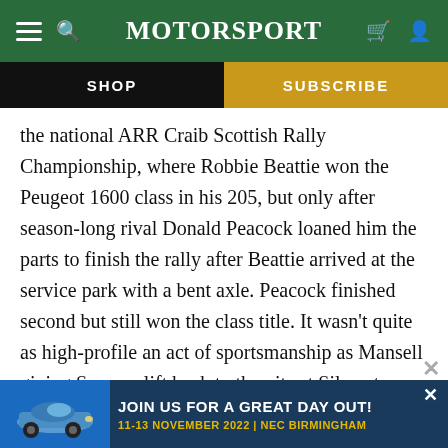MotorSport
SHOP | SUBSCRIBE
the national ARR Craib Scottish Rally Championship, where Robbie Beattie won the Peugeot 1600 class in his 205, but only after season-long rival Donald Peacock loaned him the parts to finish the rally after Beattie arrived at the service park with a bent axle. Peacock finished second but still won the class title. It wasn't quite as high-profile an act of sportsmanship as Mansell giving Senna a lift back to the pits at Silverstone in 1991, but it gave a glimpse of the values of racing that other riche... take...
[Figure (infographic): Advertisement banner: blue background with a blue Porsche 911 car image on the left, bold white text 'JOIN US FOR A GREAT DAY OUT!' and gold text '11-13 NOVEMBER 2022 | NEC BIRMINGHAM' on the right, with a close X button]